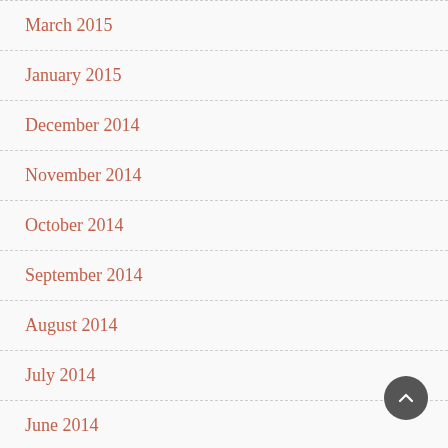March 2015
January 2015
December 2014
November 2014
October 2014
September 2014
August 2014
July 2014
June 2014
May 2014